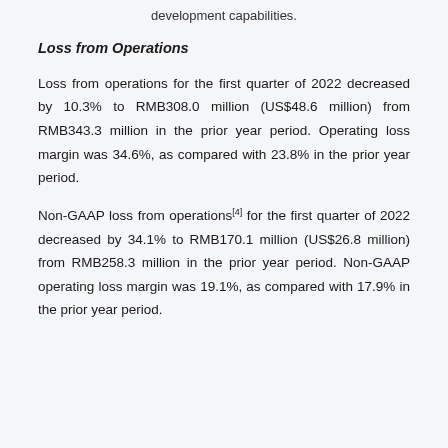development capabilities.
Loss from Operations
Loss from operations for the first quarter of 2022 decreased by 10.3% to RMB308.0 million (US$48.6 million) from RMB343.3 million in the prior year period. Operating loss margin was 34.6%, as compared with 23.8% in the prior year period.
Non-GAAP loss from operations[4] for the first quarter of 2022 decreased by 34.1% to RMB170.1 million (US$26.8 million) from RMB258.3 million in the prior year period. Non-GAAP operating loss margin was 19.1%, as compared with 17.9% in the prior year period.